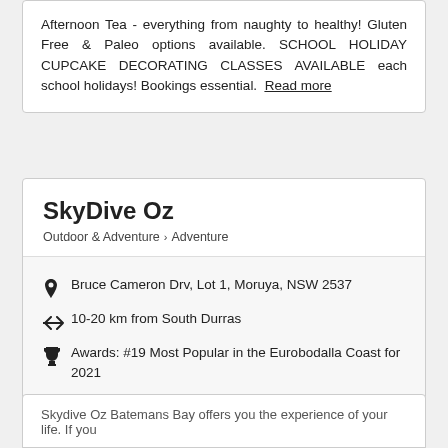Afternoon Tea - everything from naughty to healthy! Gluten Free & Paleo options available. SCHOOL HOLIDAY CUPCAKE DECORATING CLASSES AVAILABLE each school holidays! Bookings essential. Read more
SkyDive Oz
Outdoor & Adventure > Adventure
Bruce Cameron Drv, Lot 1, Moruya, NSW 2537
10-20 km from South Durras
Awards: #19 Most Popular in the Eurobodalla Coast for 2021
Skydive Oz Batemans Bay offers you the experience of your life. If you